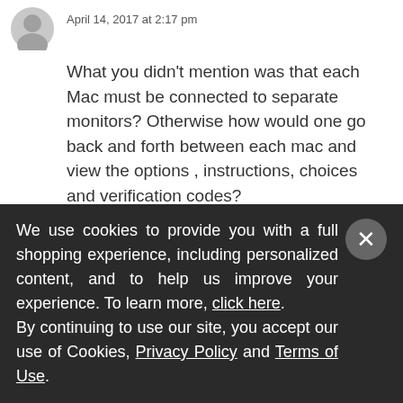[Figure (other): Partial user avatar icon (gray silhouette, cropped) at top left]
April 14, 2017 at 2:17 pm
What you didn't mention was that each Mac must be connected to separate monitors? Otherwise how would one go back and forth between each mac and view the options , instructions, choices and verification codes?
[Figure (other): User avatar icon for Kevin Bourque (gray silhouette circle)]
Kevin Bourque
April 14, 2017 at 2:51 pm
actually when you're doing a
We use cookies to provide you with a full shopping experience, including personalized content, and to help us improve your experience. To learn more, click here.
By continuing to use our site, you accept our use of Cookies, Privacy Policy and Terms of Use.